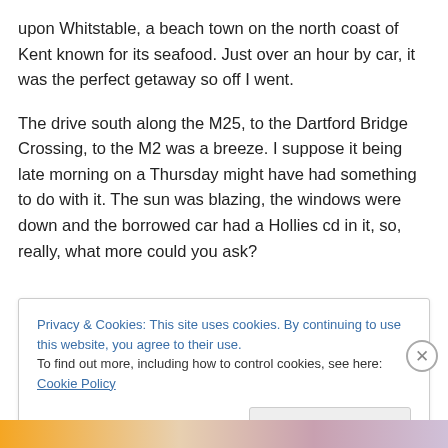upon Whitstable, a beach town on the north coast of Kent known for its seafood. Just over an hour by car, it was the perfect getaway so off I went.
The drive south along the M25, to the Dartford Bridge Crossing, to the M2 was a breeze. I suppose it being late morning on a Thursday might have had something to do with it. The sun was blazing, the windows were down and the borrowed car had a Hollies cd in it, so, really, what more could you ask?
Privacy & Cookies: This site uses cookies. By continuing to use this website, you agree to their use.
To find out more, including how to control cookies, see here: Cookie Policy